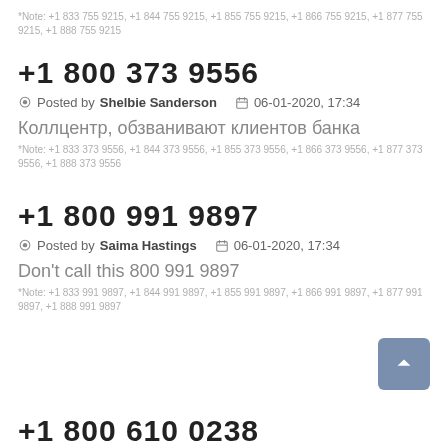*Note: +1 833 755 9215, +1 844 755 9215, +1 855 755 9215, +1 866 755 9215, +1 877 755 9215, +1 888 755 9215
+1 800 373 9556
Posted by Shelbie Sanderson   06-01-2020, 17:34
Коллцентр, обзванивают клиентов банка
*Note: +1 833 373 9556, +1 844 373 9556, +1 855 373 9556, +1 866 373 9556, +1 877 373 9556, +1 888 373 9556
+1 800 991 9897
Posted by Saima Hastings   06-01-2020, 17:34
Don't call this 800 991 9897
*Note: +1 833 991 9897, +1 844 991 9897, +1 855 991 9897, +1 866 991 9897, +1 877 991 9897, +1 888 991 9897
+1 800 610 0238